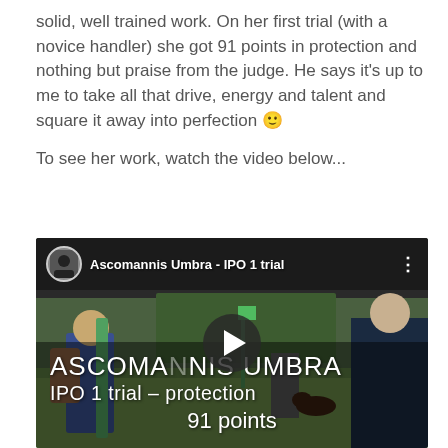solid, well trained work. On her first trial (with a novice handler) she got 91 points in protection and nothing but praise from the judge. He says it's up to me to take all that drive, energy and talent and square it away into perfection 🙂

To see her work, watch the video below...
[Figure (screenshot): YouTube video thumbnail for 'Ascomannis Umbra - IPO 1 trial' showing an outdoor field scene with people and a dog. Overlaid text reads 'ASCOMANNIS UMBRA IPO 1 trial – protection 91 points'. A play button is centered on the thumbnail.]